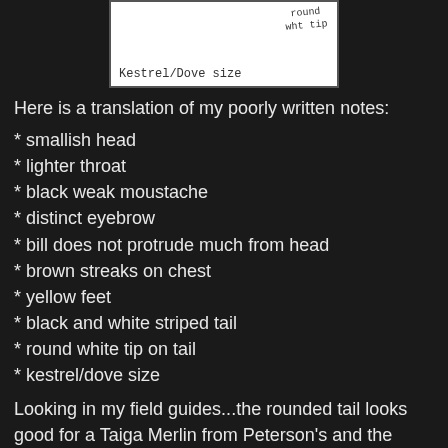[Figure (illustration): Hand-drawn sketch of a bird with handwritten notes 'round wht tip' and caption 'Kestrel/Dove size' at the bottom]
Here is a translation of my poorly written notes:
* smallish head
* lighter throat
* black weak moustache
* distinct eyebrow
* bill does not protrude much from head
* brown streaks on chest
* yellow feet
* black and white striped tail
* round white tip on tail
* kestrel/dove size
Looking in my field guides...the rounded tail looks good for a Taiga Merlin from Peterson's and the distinct eye brow and weak mustache support it. Because it was using a tall tree to hunt from also leads me away from Sharpie as I usually happen upon Sharpies in medium sized lower bushes. The